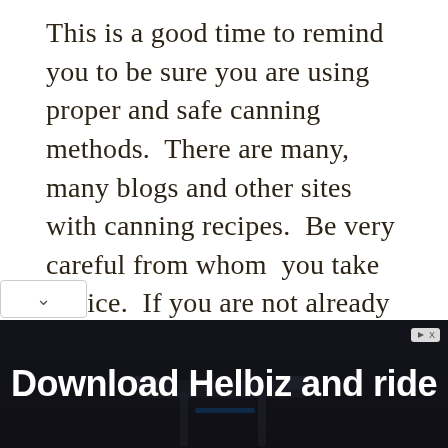This is a good time to remind you to be sure you are using proper and safe canning methods. There are many, many blogs and other sites with canning recipes. Be very careful from whom you take advice. If you are not already familiar with proper and safe canning methods, please familiarize yourself with them if you a[re going to be] canning. The Uni[versity of Georgia has a] USDA Complete G[uide to Home Canning, with] 2009 Revisions. T[here is a copy available online,] which I have, and [while I haven't read] anything in there, I do think it's a great
[Figure (photo): Advertisement banner: 'Download Helbiz and ride' text over dark background with scooter handlebars visible]